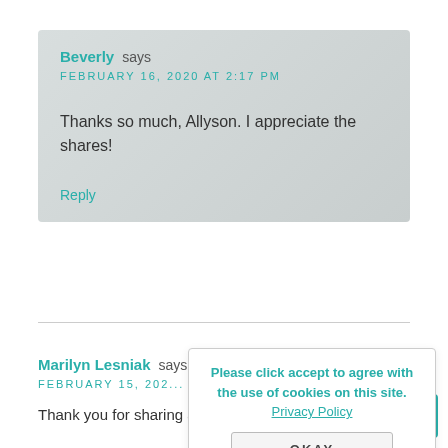Beverly says
FEBRUARY 16, 2020 AT 2:17 PM
Thanks so much, Allyson. I appreciate the shares!
Reply
Marilyn Lesniak says
FEBRUARY 15, 202...
Thank you for sharing at #OverTheMoon. Pinned and
Please click accept to agree with the use of cookies on this site. Privacy Policy
OKAY